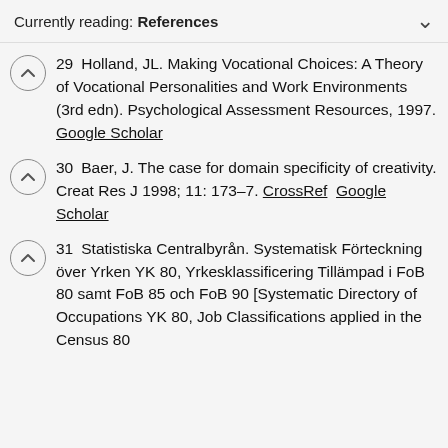Currently reading: References
29  Holland, JL. Making Vocational Choices: A Theory of Vocational Personalities and Work Environments (3rd edn). Psychological Assessment Resources, 1997. Google Scholar
30  Baer, J. The case for domain specificity of creativity. Creat Res J 1998; 11: 173–7. CrossRef  Google Scholar
31  Statistiska Centralbyrån. Systematisk Förteckning över Yrken YK 80, Yrkesklassificering Tillämpad i FoB 80 samt FoB 85 och FoB 90 [Systematic Directory of Occupations YK 80, Job Classifications applied in the Census 80